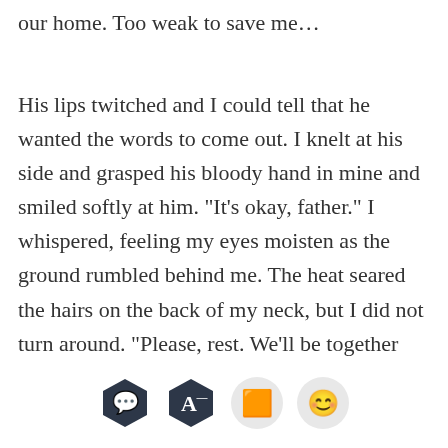our home. Too weak to save me…
His lips twitched and I could tell that he wanted the words to come out. I knelt at his side and grasped his bloody hand in mine and smiled softly at him. “It’s okay, father.” I whispered, feeling my eyes moisten as the ground rumbled behind me. The heat seared the hairs on the back of my neck, but I did not turn around. “Please, rest. We’ll be together again. All of us.”
His eyes neve… Th… was … kind of man